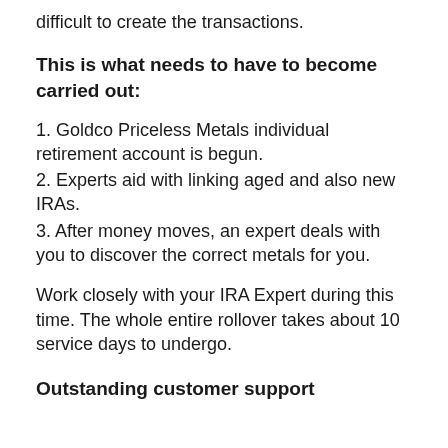difficult to create the transactions.
This is what needs to have to become carried out:
1. Goldco Priceless Metals individual retirement account is begun.
2. Experts aid with linking aged and also new IRAs.
3. After money moves, an expert deals with you to discover the correct metals for you.
Work closely with your IRA Expert during this time. The whole entire rollover takes about 10 service days to undergo.
Outstanding customer support